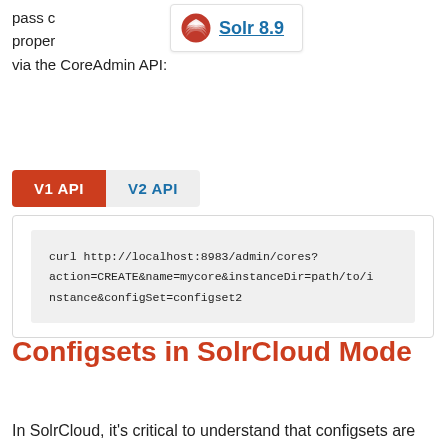pass c
proper
via the CoreAdmin API:
[Figure (logo): Solr 8.9 logo badge with red fan icon and bold blue underlined text 'Solr 8.9']
V1 API   V2 API
curl http://localhost:8983/admin/cores?action=CREATE&name=mycore&instanceDir=path/to/instance&configSet=configset2
Configsets in SolrCloud Mode
In SolrCloud, it’s critical to understand that configsets are fundamentally